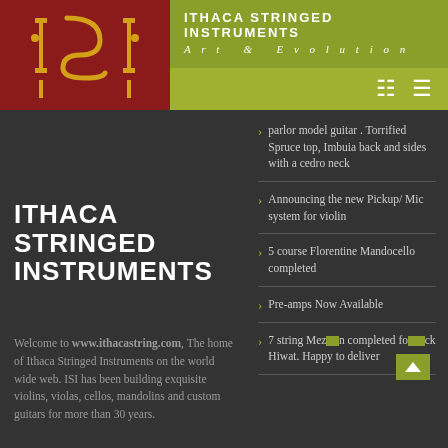ITHACA STRINGED INSTRUMENTS Art & Evolution
[Figure (logo): ISI logo with stylized letters in gold/yellow on dark red background]
ITHACA STRINGED INSTRUMENTS
Welcome to www.ithacastring.com, The home of Ithaca Stringed Instruments on the world wide web. ISI has been building exquisite violins, violas, cellos, mandolins and custom guitars for more than 30 years.
parlor model guitar . Torrified Spruce top, Imbuia back and sides with a cedro neck
Announcing the new Pickup/ Mic system for violin
5 course Florentine Mandocello completed
Pre-amps Now Available
7 string Mezz... n completed fo... ck Hiwat. Happy to deliver